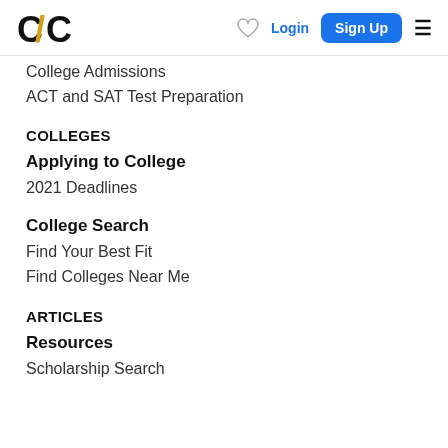C/C Logo | heart icon | Login | Sign Up | hamburger menu
College Admissions
ACT and SAT Test Preparation
COLLEGES
Applying to College
2021 Deadlines
College Search
Find Your Best Fit
Find Colleges Near Me
ARTICLES
Resources
Scholarship Search